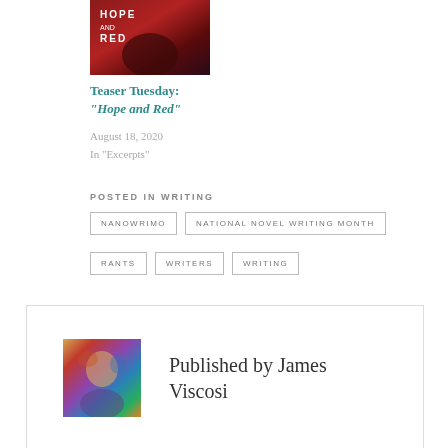[Figure (photo): Book cover of 'Hope and Red' showing a figure in red dramatic scene]
Teaser Tuesday: “Hope and Red”
August 18, 2020
In "Excerpts"
POSTED IN WRITING
NANOWRIMO
NATIONAL NOVEL WRITING MONTH
RANTS
WRITERS
WRITING
[Figure (photo): Author avatar portrait of James Viscosi, colorful illustrated style]
Published by James Viscosi